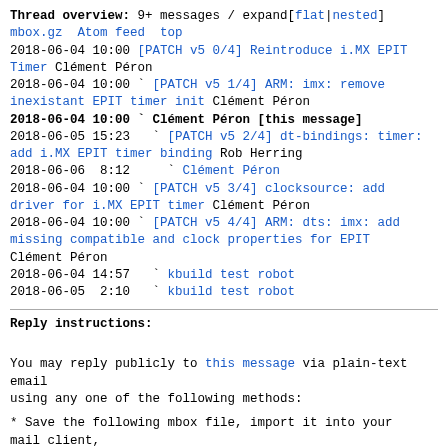Thread overview: 9+ messages / expand[flat|nested]
mbox.gz  Atom feed  top
2018-06-04 10:00 [PATCH v5 0/4] Reintroduce i.MX EPIT Timer Clément Péron
2018-06-04 10:00 ` [PATCH v5 1/4] ARM: imx: remove inexistant EPIT timer init Clément Péron
2018-06-04 10:00 ` Clément Péron [this message]
2018-06-05 15:23   ` [PATCH v5 2/4] dt-bindings: timer: add i.MX EPIT timer binding Rob Herring
2018-06-06  8:12     ` Clément Péron
2018-06-04 10:00 ` [PATCH v5 3/4] clocksource: add driver for i.MX EPIT timer Clément Péron
2018-06-04 10:00 ` [PATCH v5 4/4] ARM: dts: imx: add missing compatible and clock properties for EPIT Clément Péron
2018-06-04 14:57   ` kbuild test robot
2018-06-05  2:10   ` kbuild test robot
Reply instructions:
You may reply publicly to this message via plain-text email
using any one of the following methods:
* Save the following mbox file, import it into your mail client,
  and reply-to-all from there: mbox
Avoid top-posting and favor interleaved quoting: